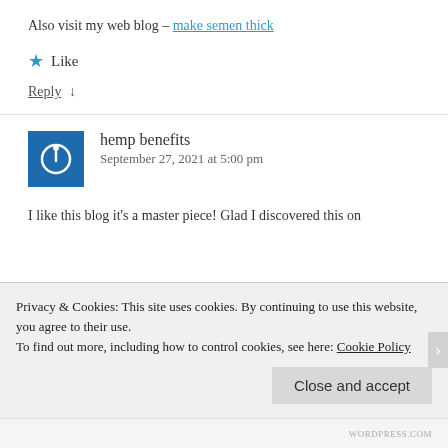Also visit my web blog – make semen thick
★ Like
Reply ↓
hemp benefits
September 27, 2021 at 5:00 pm
I like this blog it's a master piece! Glad I discovered this on
Privacy & Cookies: This site uses cookies. By continuing to use this website, you agree to their use.
To find out more, including how to control cookies, see here: Cookie Policy
Close and accept